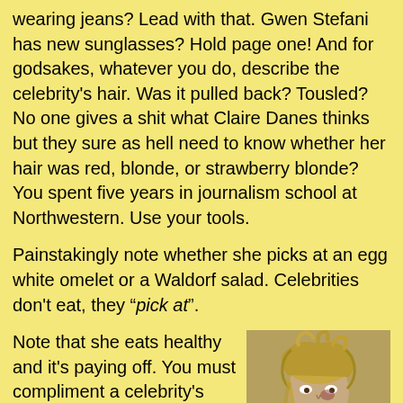wearing jeans? Lead with that. Gwen Stefani has new sunglasses? Hold page one! And for godsakes, whatever you do, describe the celebrity's hair. Was it pulled back? Tousled? No one gives a shit what Claire Danes thinks but they sure as hell need to know whether her hair was red, blonde, or strawberry blonde? You spent five years in journalism school at Northwestern. Use your tools.
Painstakingly note whether she picks at an egg white omelet or a Waldorf salad. Celebrities don't eat, they "pick at".
Note that she eats healthy and it's paying off. You must compliment a celebrity's appearance. Jennifer Aniston is "glowing" and "radiant" and when Courtney Love shows up looking like the dog's breakfast she is dressed "casual" and "fun funky".
[Figure (photo): Photo of a disheveled blonde woman with messy hair, wearing a white top, appearing unkempt]